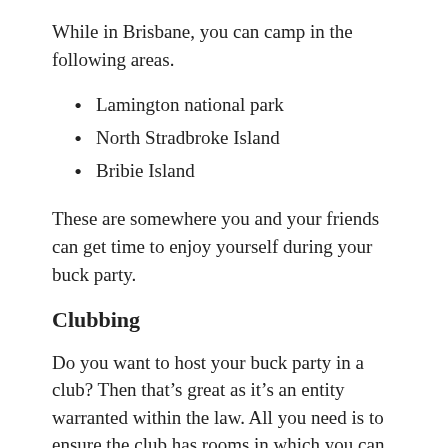While in Brisbane, you can camp in the following areas.
Lamington national park
North Stradbroke Island
Bribie Island
These are somewhere you and your friends can get time to enjoy yourself during your buck party.
Clubbing
Do you want to host your buck party in a club? Then that’s great as it’s an entity warranted within the law. All you need is to ensure the club has rooms in which you can sleep after entertaining yourselves. You don’t want to get into scuffles with police due to drunk driving or